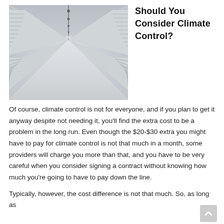[Figure (photo): Interior hallway of a self-storage facility showing rows of white roll-up metal doors on both sides, with a shiny light gray floor and fluorescent lighting overhead receding into the distance.]
Should You Consider Climate Control?
Of course, climate control is not for everyone, and if you plan to get it anyway despite not needing it, you'll find the extra cost to be a problem in the long run. Even though the $20-$30 extra you might have to pay for climate control is not that much in a month, some providers will charge you more than that, and you have to be very careful when you consider signing a contract without knowing how much you're going to have to pay down the line.
Typically, however, the cost difference is not that much. So, as long as